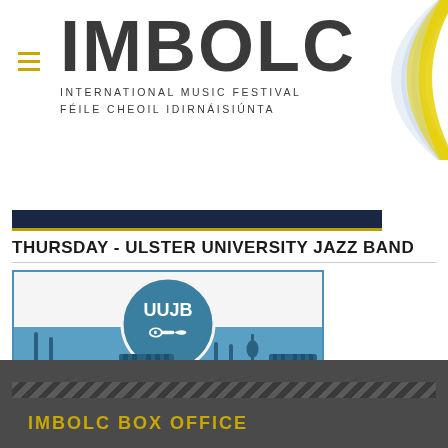[Figure (logo): IMBOLC International Music Festival logo with large bold IMBOLC text, radio wave arcs in blue and yellow, subtitle INTERNATIONAL MUSIC FESTIVAL / FÉILE CHEOIL IDIRNÁISIÚNTA]
[Figure (other): Dark navy navigation bar with gold bottom border]
THURSDAY - ULSTER UNIVERSITY JAZZ BAND
[Figure (illustration): UUJB Ulster University Jazz Band logo - blue background with silhouettes of musical instruments (guitars, drums, piano, violin, trumpet, keyboard) and a circular badge with UUJB text and a trumpet icon]
IMBOLC BOX OFFICE